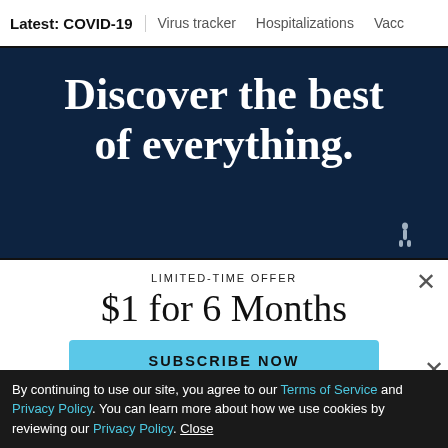Latest: COVID-19 | Virus tracker | Hospitalizations | Vacc
[Figure (illustration): Dark navy blue banner with large white serif text reading 'Discover the best of everything.' with a small figure silhouette at bottom right.]
LIMITED-TIME OFFER
$1 for 6 Months
SUBSCRIBE NOW
By continuing to use our site, you agree to our Terms of Service and Privacy Policy. You can learn more about how we use cookies by reviewing our Privacy Policy. Close